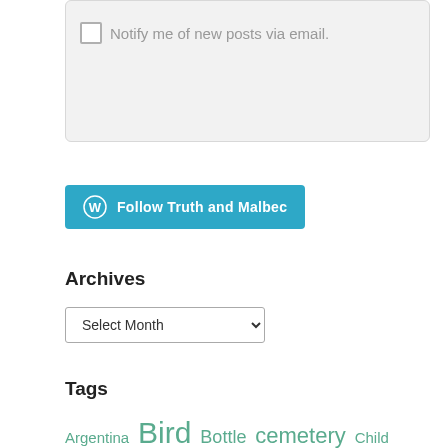Notify me of new posts via email.
[Figure (screenshot): Follow Truth and Malbec button with WordPress logo]
Archives
Select Month
Tags
Argentina Bird Bottle cemetery Child children Church cigar cinnamon clouds coffee compassion complexity contentment Cook cooking doubt Easter eggs Ethiopia faith